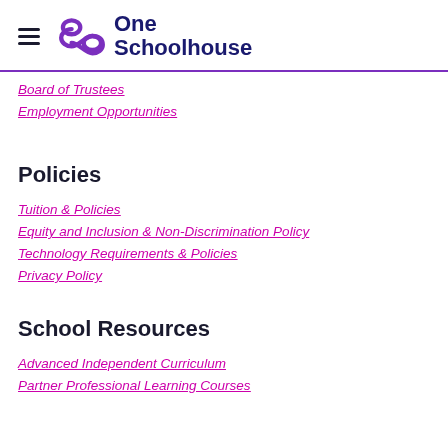One Schoolhouse
Board of Trustees
Employment Opportunities
Policies
Tuition & Policies
Equity and Inclusion & Non-Discrimination Policy
Technology Requirements & Policies
Privacy Policy
School Resources
Advanced Independent Curriculum
Partner Professional Learning Courses